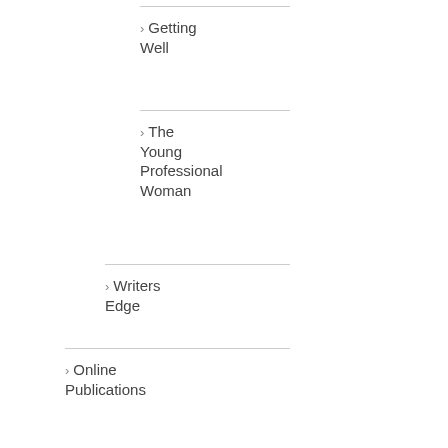Getting Well
The Young Professional Woman
Writers Edge
Online Publications
Amarantine
Cormack's Capers @ Magna Intuitum